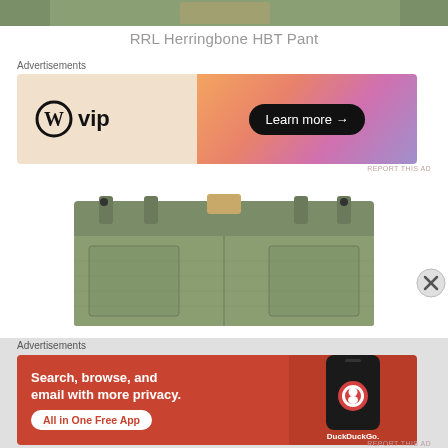[Figure (photo): Top portion of olive green herringbone HBT pant product photo, cropped]
RRL Herringbone HBT Pant
Advertisements
[Figure (screenshot): WordPress VIP advertisement banner with orange/pink gradient background and 'Learn more →' button]
[Figure (photo): Olive green herringbone HBT pants folded, showing waistband with belt loops and patch pockets]
Advertisements
[Figure (screenshot): DuckDuckGo advertisement: 'Search, browse, and email with more privacy. All in One Free App' on red background with phone graphic]